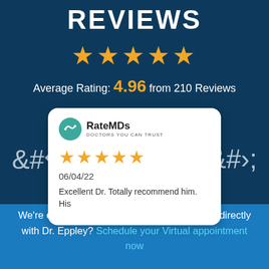REVIEWS
[Figure (other): Five gold star rating icons displayed large]
Average Rating: 4.96 from 210 Reviews
[Figure (other): RateMDs review card with logo, 5 stars, date 06/04/22, and review text: Excellent Dr. Totally recommend him. His...]
We're experts at telemedicine! Want to speak directly with Dr. Eppley? Schedule your Virtual appointment now